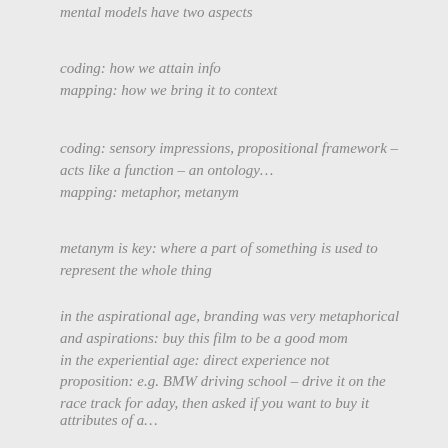mental models have two aspects
coding: how we attain info
mapping: how we bring it to context
coding: sensory impressions, propositional framework – acts like a function – an ontology…
mapping: metaphor, metanym
metanym is key: where a part of something is used to represent the whole thing
in the aspirational age, branding was very metaphorical and aspirations: buy this film to be a good mom
in the experiential age: direct experience not proposition: e.g. BMW driving school – drive it on the race track for aday, then asked if you want to buy it
attributes of a…